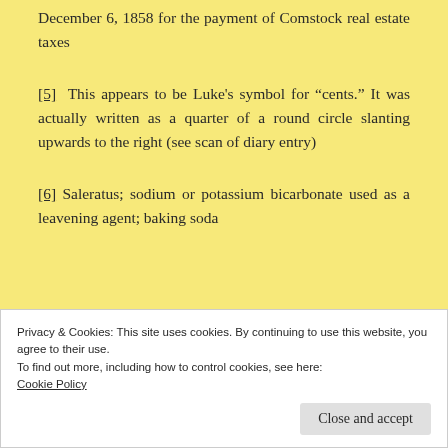December 6, 1858 for the payment of Comstock real estate taxes
[5] This appears to be Luke’s symbol for “cents.” It was actually written as a quarter of a round circle slanting upwards to the right (see scan of diary entry)
[6] Saleratus; sodium or potassium bicarbonate used as a leavening agent; baking soda
Privacy & Cookies: This site uses cookies. By continuing to use this website, you agree to their use.
To find out more, including how to control cookies, see here:
Cookie Policy
Close and accept